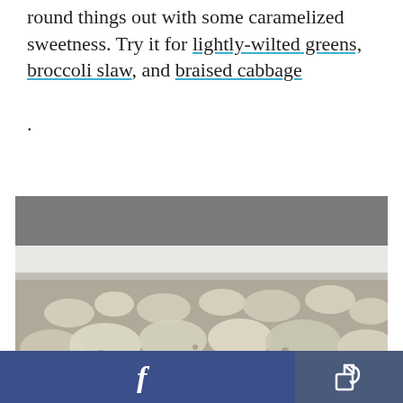round things out with some caramelized sweetness. Try it for lightly-wilted greens, broccoli slaw, and braised cabbage.
[Figure (photo): Close-up photo of roasted cauliflower florets on a baking sheet, with caramelized golden-brown edges, shot from a low angle.]
Facebook share button and share/export button